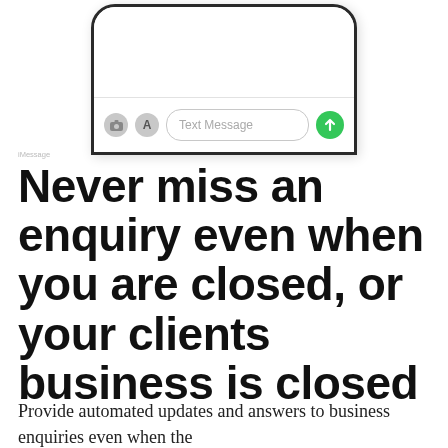[Figure (screenshot): Bottom portion of a smartphone showing the iMessage text input bar with camera icon, App Store icon, 'Text Message' placeholder input field, and green send button.]
Never miss an enquiry even when you are closed, or your clients business is closed
Provide automated updates and answers to business enquiries even when the